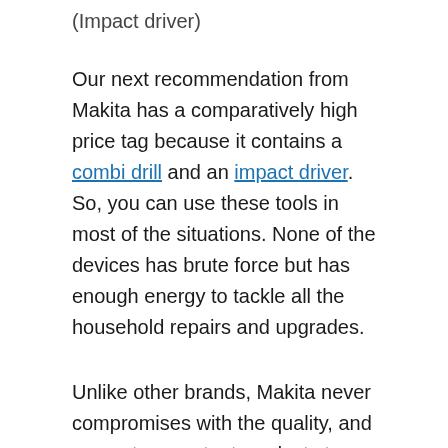(Impact driver)
Our next recommendation from Makita has a comparatively high price tag because it contains a combi drill and an impact driver. So, you can use these tools in most of the situations. None of the devices has brute force but has enough energy to tackle all the household repairs and upgrades.
Unlike other brands, Makita never compromises with the quality, and you get competent products to achieve desired results.
If you are looking for a reliable set of tools, Makita CLX202AJ twin pack has everything that you will ever need. HP331DZ drill is compact and lightweight. Hence, its s suitable to work in